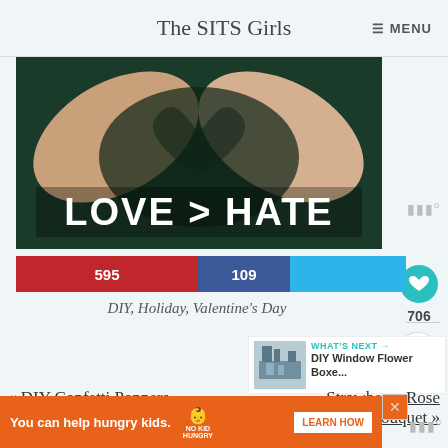The SITS Girls  ≡ MENU
[Figure (photo): Two hands forming a heart shape against a dark green background with white bold text reading LOVE > HATE]
595  109
DIY, Holiday, Valentine's Day
WHAT'S NEXT → DIY Window Flower Boxe...
« DIY Confetti Poppers
Strawberry Rose Bouquet »
You can help hungry kids.  NO KID HUNGRY  LEARN HOW